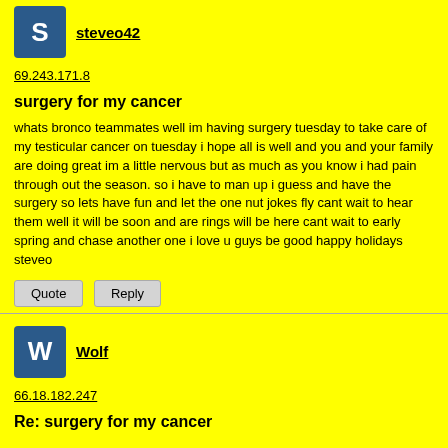steveo42
69.243.171.8
surgery for my cancer
whats bronco teammates well im having surgery tuesday to take care of my testicular cancer on tuesday i hope all is well and you and your family are doing great im a little nervous but as much as you know i had pain through out the season. so i have to man up i guess and have the surgery so lets have fun and let the one nut jokes fly cant wait to hear them well it will be soon and are rings will be here cant wait to early spring and chase another one i love u guys be good happy holidays steveo
Quote  Reply
Wolf
66.18.182.247
Re: surgery for my cancer